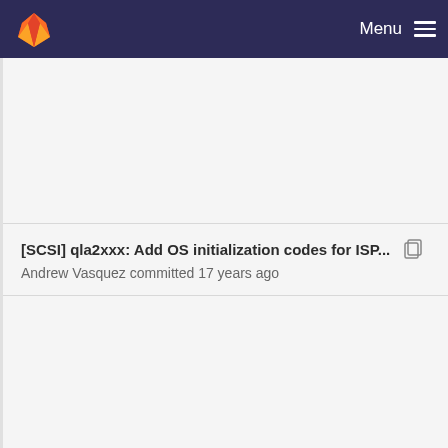Menu
[SCSI] qla2xxx: Add OS initialization codes for ISP...
Andrew Vasquez committed 17 years ago
[PATCH] qla2xxx: Close window on race between r...
andrew.vasquez@qlogic.com committed 16 years ago